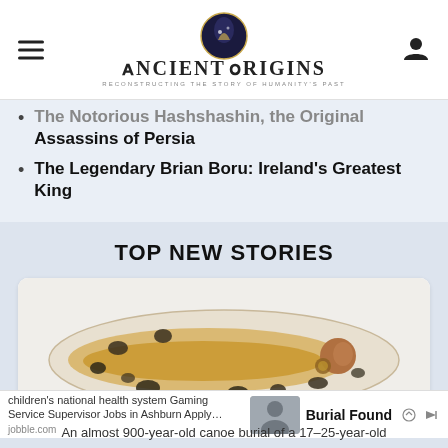Ancient Origins — Reconstructing the story of humanity's past
The Notorious Hashshashin, the Original Assassins of Persia
The Legendary Brian Boru: Ireland's Greatest King
TOP NEW STORIES
[Figure (illustration): Archaeological illustration of a canoe burial showing a human skeleton laid in an elongated canoe-shaped vessel with dark stones/objects around it and a 10 cm scale bar]
children's national health system Gaming Service Supervisor Jobs in Ashburn Apply… jobble.com
Burial Found
An almost 900-year-old canoe burial of a 17–25-year-old